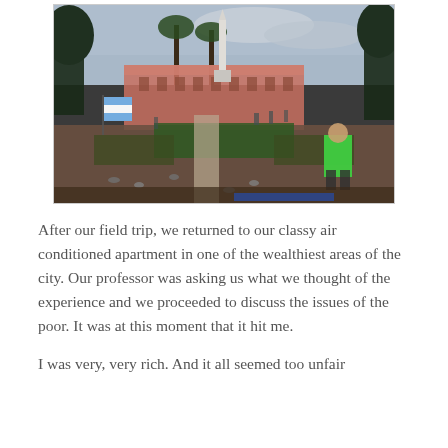[Figure (photo): Outdoor photo of a plaza or public square in Buenos Aires, Argentina. In the foreground, people are walking on paths through a garden area with pigeons on the ground. A person in a bright green shirt is visible on the right. In the background, a tall white monument/obelisk stands in front of the Casa Rosada (pink government building). Palm trees and other trees line the scene. The sky is overcast. An Argentine flag is visible on the left side.]
After our field trip, we returned to our classy air conditioned apartment in one of the wealthiest areas of the city. Our professor was asking us what we thought of the experience and we proceeded to discuss the issues of the poor. It was at this moment that it hit me.
I was very, very rich. And it all seemed too unfair